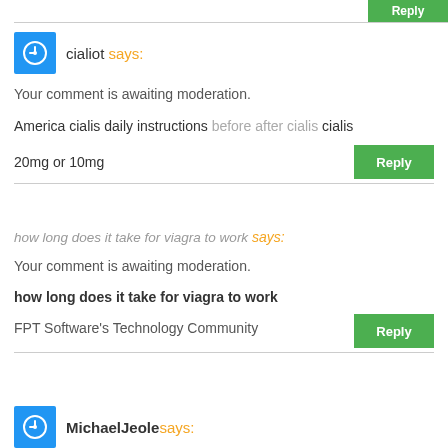Reply
cialiot says:
Your comment is awaiting moderation.
America cialis daily instructions before after cialis cialis 20mg or 10mg
Reply
how long does it take for viagra to work says:
Your comment is awaiting moderation.
how long does it take for viagra to work
FPT Software's Technology Community
Reply
MichaelJeole says: